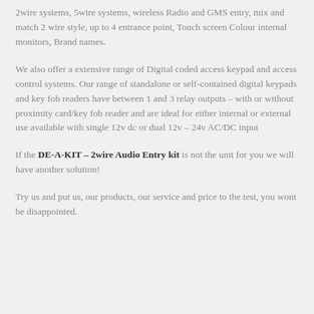2wire systems, 5wire systems, wireless Radio and GMS entry, mix and match 2 wire style, up to 4 entrance point, Touch screen Colour internal monitors, Brand names.
We also offer a extensive range of Digital coded access keypad and access control systems. Our range of standalone or self-contained digital keypads and key fob readers have between 1 and 3 relay outputs – with or without proximity card/key fob reader and are ideal for either internal or external use available with single 12v dc or dual 12v – 24v AC/DC input
If the DE-A-KIT – 2wire Audio Entry kit is not the unit for you we will have another solution!
Try us and put us, our products, our service and price to the test, you wont be disappointed.